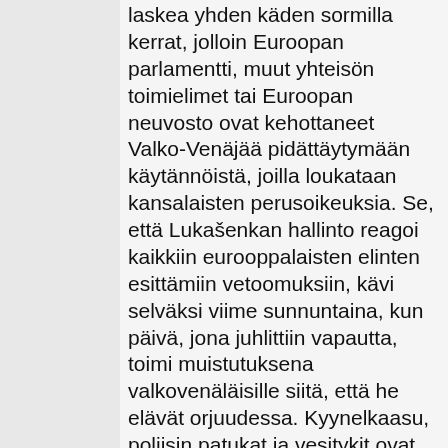laskea yhden käden sormilla kerrat, jolloin Euroopan parlamentti, muut yhteisön toimielimet tai Euroopan neuvosto ovat kehottaneet Valko-Venäjää pidättäytymään käytännöistä, joilla loukataan kansalaisten perusoikeuksia. Se, että Lukašenkan hallinto reagoi kaikkiin eurooppalaisten elinten esittämiin vetoomuksiin, kävi selväksi viime sunnuntaina, kun päivä, jona juhlittiin vapautta, toimi muistutuksena valkovenäläisille siitä, että he elävät orjuudessa. Kyynelkaasu, poliisin patukat ja vesitykit ovat tyrannien vastaus kansalaisten vapaudenkaipuuseen ja nälkään. Emme voi antaa yhden miehen pitää koko Euroopan unionia pilkkanaan ja johtaa autoritaarista hallintoaan aivan nenämme alla rankaisematta. Yhdentyneen Euroopan edustajina meidän on